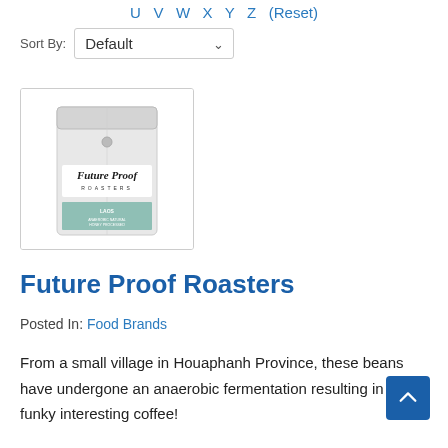U V W X Y Z (Reset)
Sort By: Default
[Figure (photo): White coffee bag with Future Proof Roasters branding and a teal label]
Future Proof Roasters
Posted In: Food Brands
From a small village in Houaphanh Province, these beans have undergone an anaerobic fermentation resulting in a funky interesting coffee!
Website: https://futureproofroas...